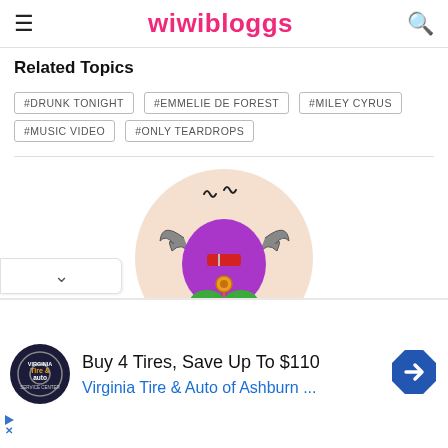wiwibloggs
Related Topics
#DRUNK TONIGHT
#EMMELIE DE FOREST
#MILEY CYRUS
#MUSIC VIDEO
#ONLY TEARDROPS
[Figure (illustration): Cartoon monster avatar: purple round body with bat wings, green scaly legs/feet, small red rectangle on chest, gold/orange pendant below, squiggly lines above head, inside a beige circle]
Buy 4 Tires, Save Up To $110
Virginia Tire & Auto of Ashburn ...